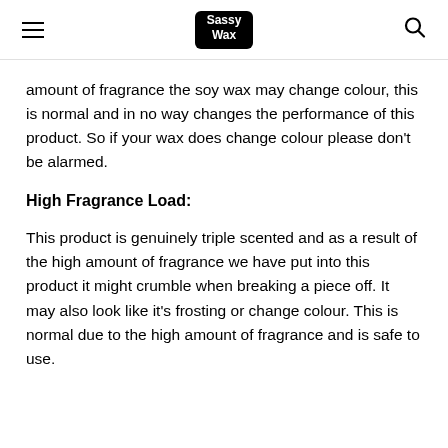Sassy Wax
amount of fragrance the soy wax may change colour, this is normal and in no way changes the performance of this product. So if your wax does change colour please don't be alarmed.
High Fragrance Load:
This product is genuinely triple scented and as a result of the high amount of fragrance we have put into this product it might crumble when breaking a piece off. It may also look like it's frosting or change colour. This is normal due to the high amount of fragrance and is safe to use.